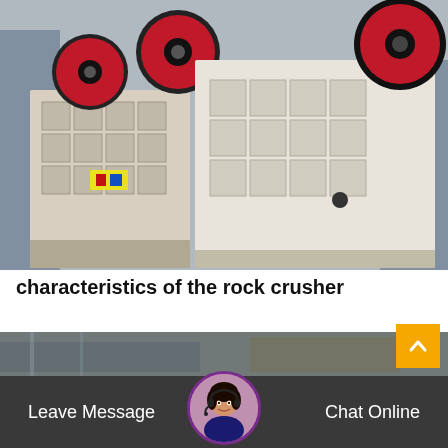[Figure (photo): Industrial jaw crushers / rock crushing machinery in a factory setting. Large white and beige machines with red and black flywheels visible. Multiple units shown side by side.]
characteristics of the rock crusher
Stone crusher is crushing machinery that used to reduce the size of minerals to obtain the require...
[Figure (photo): Partially visible bottom strip image of industrial machinery/factory background.]
Leave Message
[Figure (photo): Avatar/headshot of a woman with headset (customer service representative), circular crop with purple border.]
Chat Online